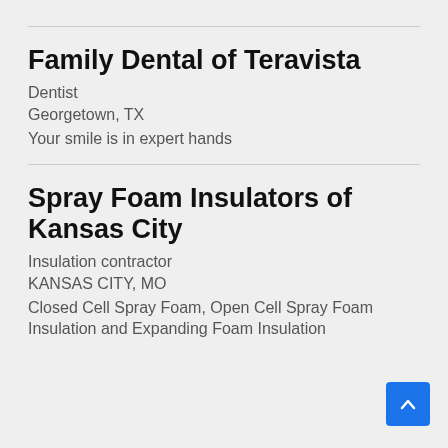Family Dental of Teravista
Family Dental of Teravista
Dentist
Georgetown, TX
Your smile is in expert hands
Spray Foam Insulators of Kansas City
Insulation contractor
KANSAS CITY, MO
Closed Cell Spray Foam, Open Cell Spray Foam Insulation and Expanding Foam Insulation